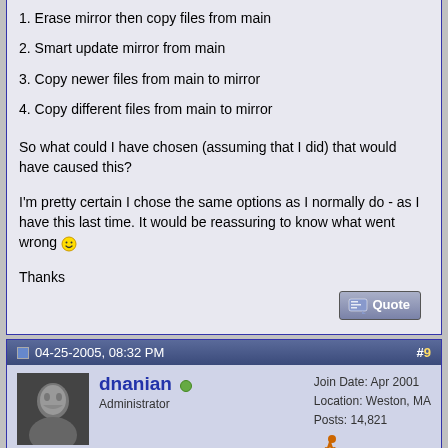1. Erase mirror then copy files from main
2. Smart update mirror from main
3. Copy newer files from main to mirror
4. Copy different files from main to mirror
So what could I have chosen (assuming that I did) that would have caused this?
I'm pretty certain I chose the same options as I normally do - as I have this last time. It would be reassuring to know what went wrong :)
Thanks
04-25-2005, 08:32 PM   #9
dnanian  Administrator  Join Date: Apr 2001  Location: Weston, MA  Posts: 14,821
Very strange. Never heard of anything like this before, ever.